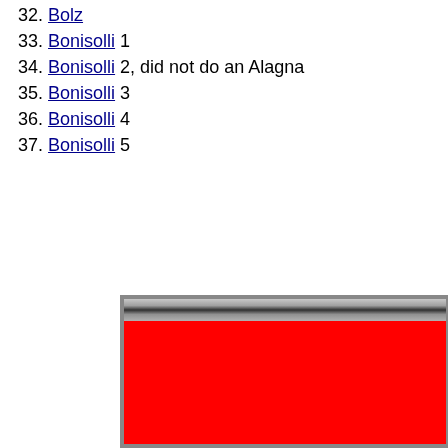32. Bolz
33. Bonisolli 1
34. Bonisolli 2, did not do an Alagna
35. Bonisolli 3
36. Bonisolli 4
37. Bonisolli 5
[Figure (photo): Partial view of a red rectangular image with a metallic/gray gradient bar at the top, bordered by a gray/silver frame. The main area is solid bright red. The image is cropped at the right and bottom edges.]